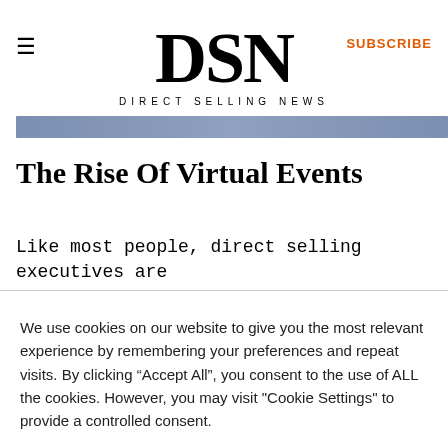DSN DIRECT SELLING NEWS
The Rise Of Virtual Events
Like most people, direct selling executives are
We use cookies on our website to give you the most relevant experience by remembering your preferences and repeat visits. By clicking “Accept All”, you consent to the use of ALL the cookies. However, you may visit "Cookie Settings" to provide a controlled consent.